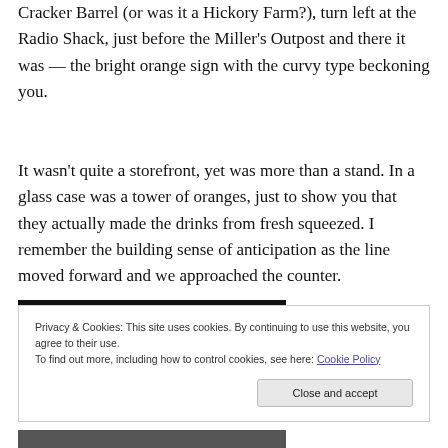Cracker Barrel (or was it a Hickory Farm?), turn left at the Radio Shack, just before the Miller's Outpost and there it was — the bright orange sign with the curvy type beckoning you.
It wasn't quite a storefront, yet was more than a stand. In a glass case was a tower of oranges, just to show you that they actually made the drinks from fresh squeezed. I remember the building sense of anticipation as the line moved forward and we approached the counter.
Privacy & Cookies: This site uses cookies. By continuing to use this website, you agree to their use.
To find out more, including how to control cookies, see here: Cookie Policy